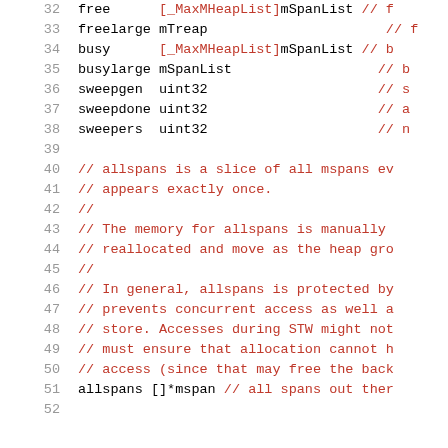32   free      [_MaxMHeapList]mSpanList // f
33   freelarge mTreap                        // f
34   busy      [_MaxMHeapList]mSpanList // b
35   busylarge mSpanList                      // b
36   sweepgen  uint32                         // s
37   sweepdone uint32                         // a
38   sweepers  uint32                         // n
39
40   // allspans is a slice of all mspans ev
41   // appears exactly once.
42   //
43   // The memory for allspans is manually
44   // reallocated and move as the heap gro
45   //
46   // In general, allspans is protected by
47   // prevents concurrent access as well a
48   // store. Accesses during STW might not
49   // must ensure that allocation cannot h
50   // access (since that may free the back
51   allspans []*mspan // all spans out ther
52